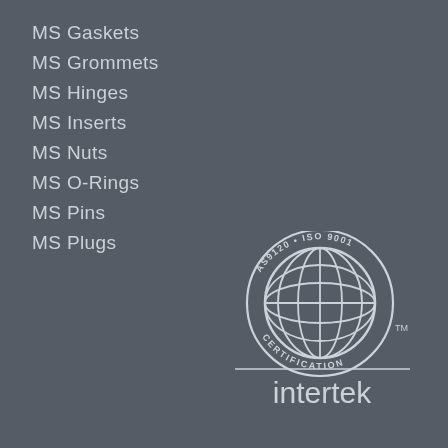MS Gaskets
MS Grommets
MS Hinges
MS Inserts
MS Nuts
MS O-Rings
MS Pins
MS Plugs
[Figure (logo): Intertek AS9120 ISO 9001 Certification logo with globe graphic and intertek wordmark]